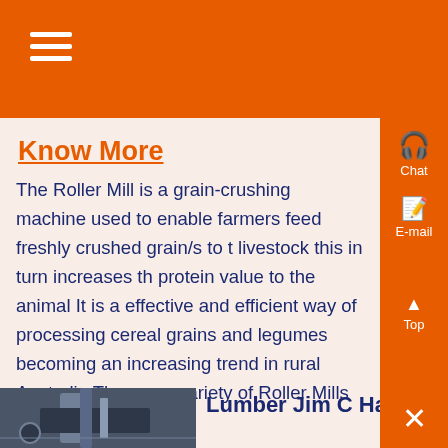Know More
The Roller Mill is a grain-crushing machine used to enable farmers feed freshly crushed grain/s to the livestock this in turn increases the protein value to the animal It is a effective and efficient way of processing cereal grains and legumes becoming an increasing trend in rural Australia There are variety of Roller Mills to cater ....
[Figure (photo): Industrial machinery / lumber mill equipment photograph]
Lumber Jim C Hamer